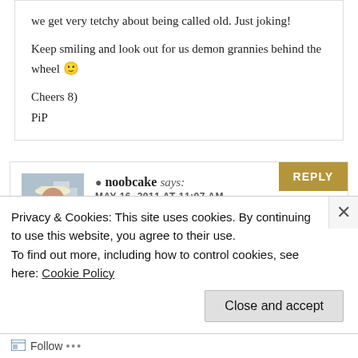we get very tetchy about being called old. Just joking!

Keep smiling and look out for us demon grannies behind the wheel 🙂

Cheers 8)
PiP
noobcake says:
MAY 16, 2011 AT 11:07 AM
The worrying thing for me at the moment is
Privacy & Cookies: This site uses cookies. By continuing to use this website, you agree to their use.
To find out more, including how to control cookies, see here: Cookie Policy